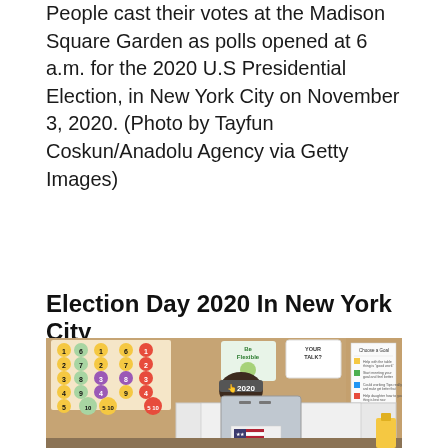People cast their votes at the Madison Square Garden as polls opened at 6 a.m. for the 2020 U.S Presidential Election, in New York City on November 3, 2020. (Photo by Tayfun Coskun/Anadolu Agency via Getty Images)
Election Day 2020 In New York City
[Figure (photo): A person wearing a '2020' cap sits at a voting booth in what appears to be a school classroom, with colorful number charts on the wall behind them and a voting machine with an American flag sticker in the foreground.]